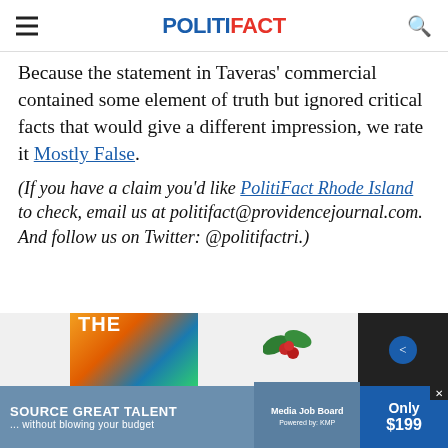POLITIFACT
Because the statement in Taveras' commercial contained some element of truth but ignored critical facts that would give a different impression, we rate it Mostly False.
(If you have a claim you'd like PolitiFact Rhode Island to check, email us at politifact@providencejournal.com. And follow us on Twitter: @politifactri.)
[Figure (other): Advertisement banner: SOURCE GREAT TALENT ...without blowing your budget. Media Job Board logo. Only $199.]